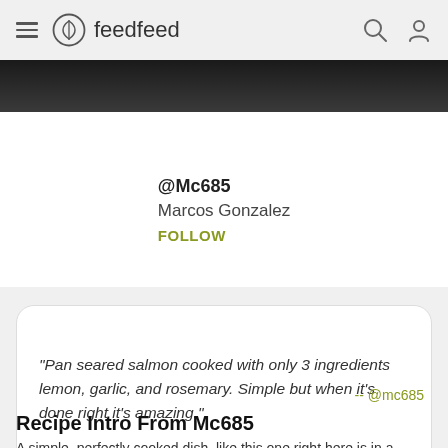feedfeed
[Figure (photo): Dark wooden surface or food photo strip at top]
@Mc685
Marcos Gonzalez
FOLLOW
"Pan seared salmon cooked with only 3 ingredients lemon, garlic, and rosemary. Simple but when it's done right it's amazing."
-- @mc685
Recipe Intro From Mc685
A simple, perfectly cooked dish, like this one right here is in a